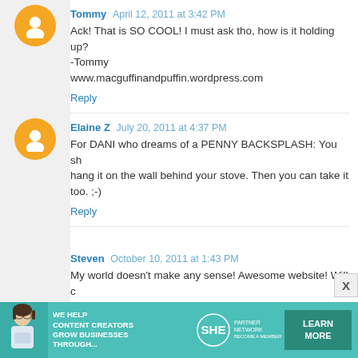Tommy April 12, 2011 at 3:42 PM
Ack! That is SO COOL! I must ask tho, how is it holding up?
-Tommy
www.macguffinandpuffin.wordpress.com
Reply
Elaine Z July 20, 2011 at 4:37 PM
For DANI who dreams of a PENNY BACKSPLASH: You should make this on a piece of canvas to hang it on the wall behind your stove. Then you can take it with you when you move too. ;-)
Reply
Steven October 10, 2011 at 1:43 PM
My world doesn't make any sense! Awesome website! Will c
Reply
Andrea . Charcoal and Crayons November 1, 2011 at 3:4
Fantastic! Now I'm wondering what could use a good
[Figure (infographic): SHE Partner Network advertisement banner: teal background with woman with laptop photo, text 'WE HELP CONTENT CREATORS GROW BUSINESSES THROUGH...' with SHE logo and LEARN MORE button]